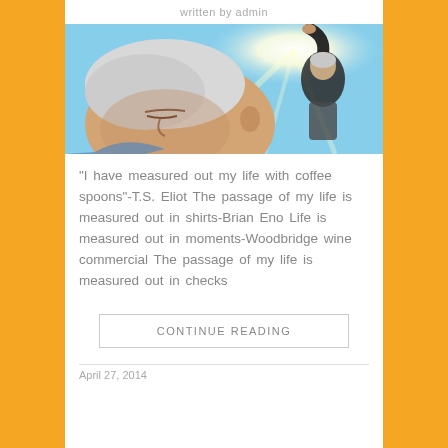written by admin
[Figure (photo): An elderly man with white hair looking down on the left side; on the right, a figure in a dark jacket reaching upward toward a bright light in a blue sky]
“I have measured out my life with coffee spoons”-T.S. Eliot The passage of my life is measured out in shirts-Brian Eno Life is measured out in moments-Woodbridge wine commercial The passage of my life is measured out in checks
CONTINUE READING
April 27, 2014